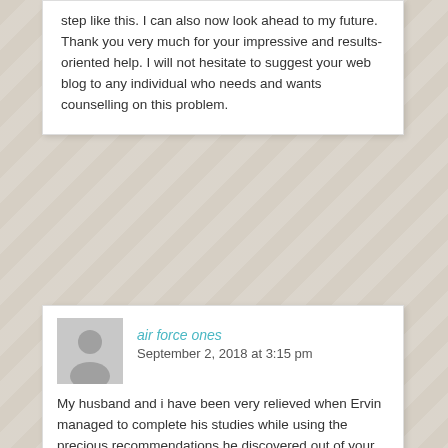step like this. I can also now look ahead to my future. Thank you very much for your impressive and results-oriented help. I will not hesitate to suggest your web blog to any individual who needs and wants counselling on this problem.
air force ones
September 2, 2018 at 3:15 pm
My husband and i have been very relieved when Ervin managed to complete his studies while using the precious recommendations he discovered out of your weblog. It is now and again perplexing to simply possibly be offering tactics that a number of people may have been trying to sell. We really remember we now have the writer to be grateful to because of that. The main illustrations you made, the simple site menu, the friendships you will help promote – it is mostly impressive, and it's aiding our son in addition to us reckon that this concept is interesting, and that's exceedingly vital. Many thanks for